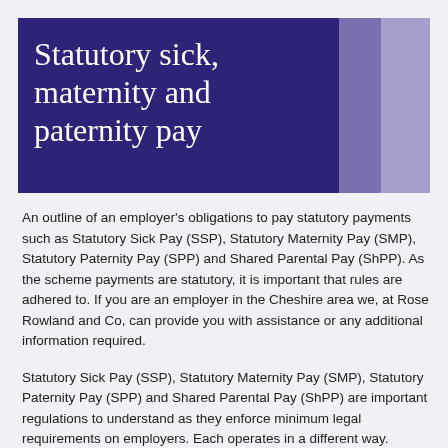Statutory sick, maternity and paternity pay
An outline of an employer's obligations to pay statutory payments such as Statutory Sick Pay (SSP), Statutory Maternity Pay (SMP), Statutory Paternity Pay (SPP) and Shared Parental Pay (ShPP). As the scheme payments are statutory, it is important that rules are adhered to. If you are an employer in the Cheshire area we, at Rose Rowland and Co, can provide you with assistance or any additional information required.
Statutory Sick Pay (SSP), Statutory Maternity Pay (SMP), Statutory Paternity Pay (SPP) and Shared Parental Pay (ShPP) are important regulations to understand as they enforce minimum legal requirements on employers. Each operates in a different way.